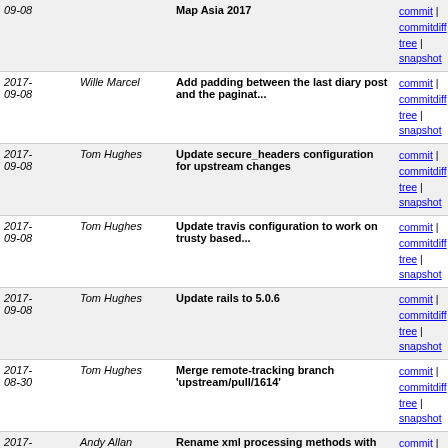| Date | Author | Commit message | Links |
| --- | --- | --- | --- |
| 2017-09-08 |  | Map Asia 2017 | commit | commitdiff | tree | snapshot |
| 2017-09-08 | Wille Marcel | Add padding between the last diary post and the paginat... | commit | commitdiff | tree | snapshot |
| 2017-09-08 | Tom Hughes | Update secure_headers configuration for upstream changes | commit | commitdiff | tree | snapshot |
| 2017-09-08 | Tom Hughes | Update travis configuration to work on trusty based... | commit | commitdiff | tree | snapshot |
| 2017-09-08 | Tom Hughes | Update rails to 5.0.6 | commit | commitdiff | tree | snapshot |
| 2017-08-30 | Tom Hughes | Merge remote-tracking branch 'upstream/pull/1614' | commit | commitdiff | tree | snapshot |
| 2017-08-30 | Andy Allan | Rename xml processing methods with an update_ prefix | commit | commitdiff | tree | snapshot |
| 2017-08-29 | Tom Hughes | Enable retina tiles for Thunderforest layers | commit | commitdiff | tree | snapshot |
| 2017-08-26 | Bryan Housel | Update to iD v2.4.1 | commit | commitdiff | tree | snapshot |
| 2017-08-25 | Bryan Housel | Add iD hashtags parameter | commit | commitdiff | tree | snapshot |
| 2017- | Bryan Housel | Update to iD v2.4.0 | commit | commitdiff |